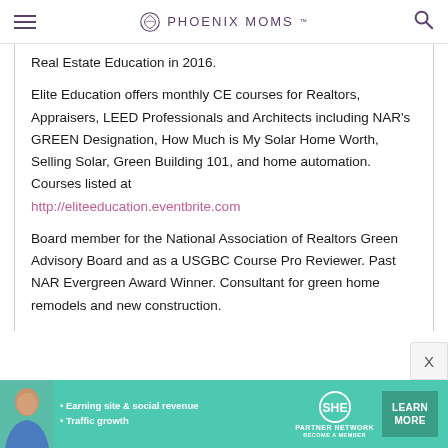PHOENIX MOMS
Real Estate Education in 2016.
Elite Education offers monthly CE courses for Realtors, Appraisers, LEED Professionals and Architects including NAR's GREEN Designation, How Much is My Solar Home Worth, Selling Solar, Green Building 101, and home automation. Courses listed at http://eliteeducation.eventbrite.com
Board member for the National Association of Realtors Green Advisory Board and as a USGBC Course Pro Reviewer. Past NAR Evergreen Award Winner. Consultant for green home remodels and new construction.
[Figure (photo): Advertisement banner for SHE Partner Network with a woman's photo, bullet points about earning site & social revenue and traffic growth, SHE logo, and a LEARN MORE button on teal background]